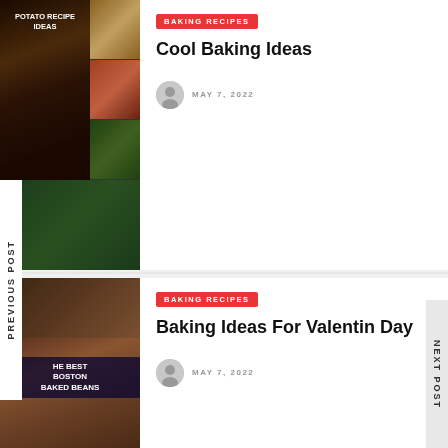PREVIOUS POST
NEXT POST
[Figure (photo): Baked potato recipe ideas collage image]
BAKING RECIPES
Cool Baking Ideas
MAY 7, 2022
[Figure (photo): The Best Boston Baked Beans photo collage]
BAKING RECIPES
Baking Ideas For Valentine Day
MAY 7, 2022